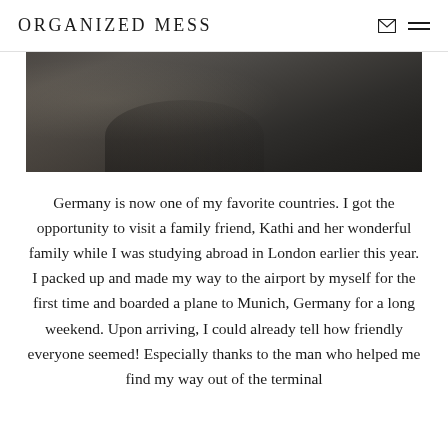ORGANIZED MESS
[Figure (photo): A cobblestone street scene in Germany, showing a curved road with stone pavement, buildings on the left side, taken in low/dim lighting conditions.]
Germany is now one of my favorite countries. I got the opportunity to visit a family friend, Kathi and her wonderful family while I was studying abroad in London earlier this year. I packed up and made my way to the airport by myself for the first time and boarded a plane to Munich, Germany for a long weekend. Upon arriving, I could already tell how friendly everyone seemed! Especially thanks to the man who helped me find my way out of the terminal